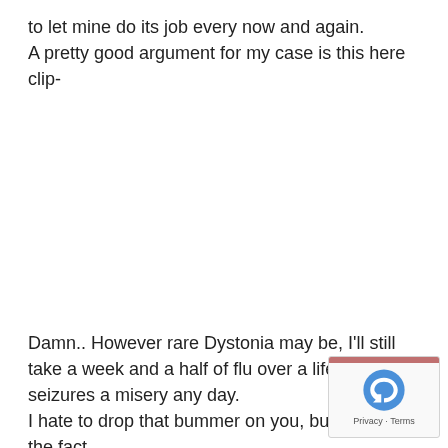to let mine do its job every now and again.
A pretty good argument for my case is this here clip-
Damn.. However rare Dystonia may be, I'll still take a week and a half of flu over a life time of seizures a misery any day.
I hate to drop that bummer on you, but I swear the fact...